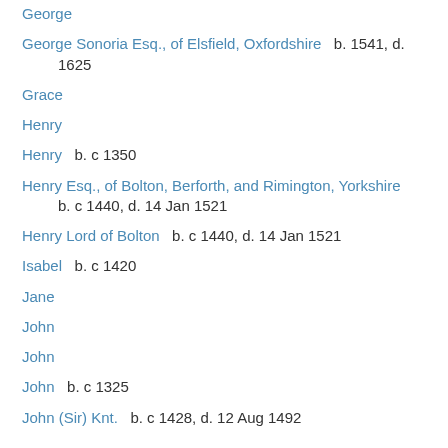George
George Sonoria Esq., of Elsfield, Oxfordshire   b. 1541, d. 1625
Grace
Henry
Henry   b. c 1350
Henry Esq., of Bolton, Berforth, and Rimington, Yorkshire   b. c 1440, d. 14 Jan 1521
Henry Lord of Bolton   b. c 1440, d. 14 Jan 1521
Isabel   b. c 1420
Jane
John
John
John   b. c 1325
John (Sir) Knt.   b. c 1428, d. 12 Aug 1492